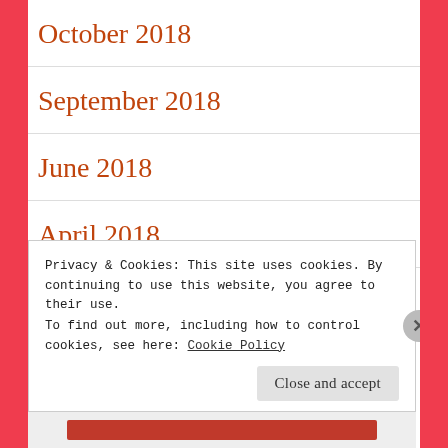October 2018
September 2018
June 2018
April 2018
March 2018
February 2018
Privacy & Cookies: This site uses cookies. By continuing to use this website, you agree to their use.
To find out more, including how to control cookies, see here: Cookie Policy
Close and accept